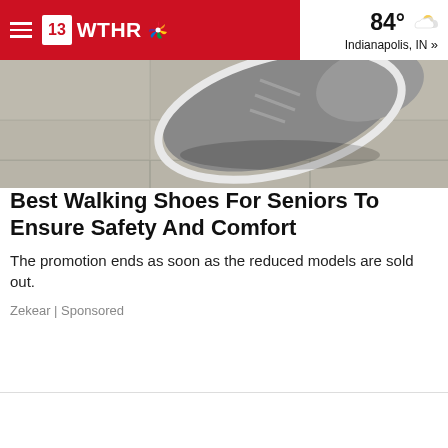13 WTHR | 84° Indianapolis, IN »
[Figure (photo): Close-up photo of a person's foot wearing a gray walking shoe on a light stone or concrete surface, viewed from above.]
Best Walking Shoes For Seniors To Ensure Safety And Comfort
The promotion ends as soon as the reduced models are sold out.
Zekear | Sponsored